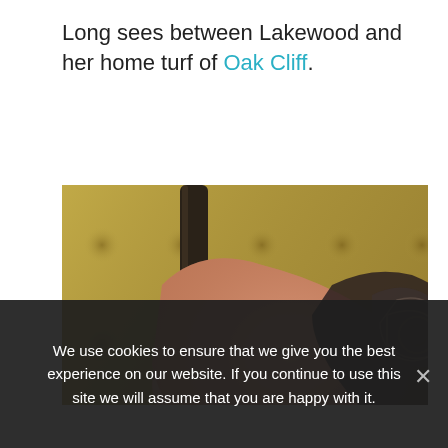Long sees between Lakewood and her home turf of Oak Cliff.
[Figure (photo): Close-up photo of a tattooed hand gripping a large metal hammer or mallet against a gold tufted leather background, with a yellow flower visible at the bottom.]
We use cookies to ensure that we give you the best experience on our website. If you continue to use this site we will assume that you are happy with it.